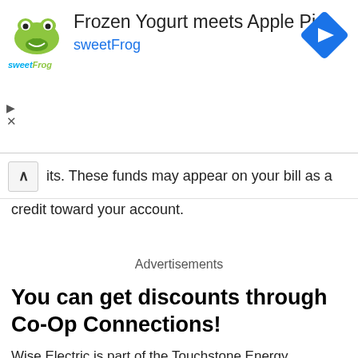[Figure (other): sweetFrog advertisement banner. Headline: 'Frozen Yogurt meets Apple Pie', subtext: 'sweetFrog', with sweetFrog logo and blue diamond navigation icon.]
its. These funds may appear on your bill as a credit toward your account.
Advertisements
You can get discounts through Co-Op Connections!
Wise Electric is part of the Touchstone Energy Cooperative, so you can get a Co-Op Connections Card free of charge! This program gives you discounts at 48,000+ locations across the United